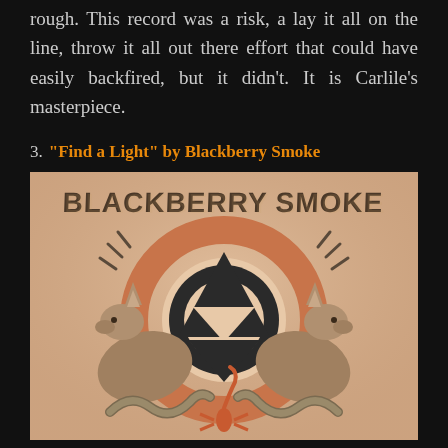rough. This record was a risk, a lay it all on the line, throw it all out there effort that could have easily backfired, but it didn't. It is Carlile's masterpiece.
3. "Find a Light" by Blackberry Smoke
[Figure (illustration): Album cover for 'Find a Light' by Blackberry Smoke. Peach/tan background with two coyotes facing each other symmetrically, a large circular peace-sign-like symbol in the center with an arrow/triangle design, snakes at the bottom, and 'BLACKBERRY SMOKE' text at the top in bold distressed typography.]